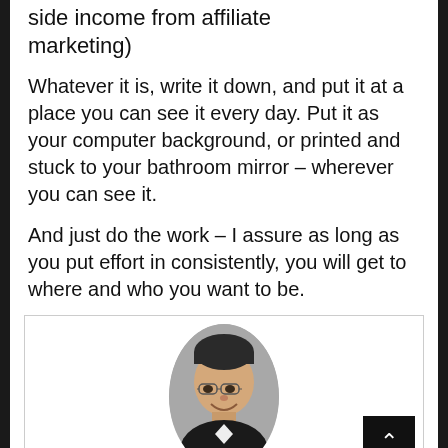side income from affiliate marketing)
Whatever it is, write it down, and put it at a place you can see it every day. Put it as your computer background, or printed and stuck to your bathroom mirror – wherever you can see it.
And just do the work – I assure as long as you put effort in consistently, you will get to where and who you want to be.
[Figure (photo): Oval portrait photo of an Asian man wearing glasses and a suit, smiling, against a light gray background. A back-to-top button (black square with white upward chevron) appears in the bottom-right corner of the photo box.]